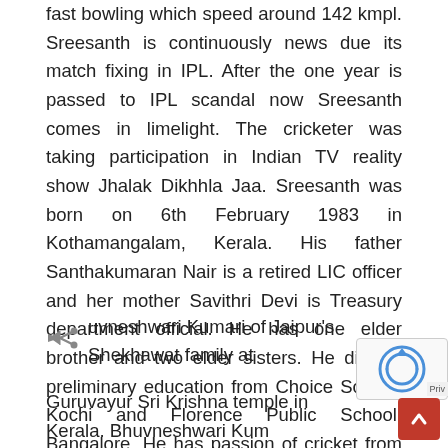fast bowling which speed around 142 kmpl. Sreesanth is continuously news due its match fixing in IPL. After the one year is passed to IPL scandal now Sreesanth comes in limelight. The cricketer was taking participation in Indian TV reality show Jhalak Dikhhla Jaa. Sreesanth was born on 6th February 1983 in Kothamangalam, Kerala. His father Santhakumaran Nair is a retired LIC officer and her mother Savithri Devi is Treasury department official. He has one elder brother and two elder sisters. He did his preliminary education from Choice School, Kochi and Florence Public School, Bangalore. He has passion of cricket from his childhood so he took training in Ernakulam CC and MRF Pace Foundation in Chennai. Sreesanth is a good leg spinner first but after encouragement by his elder big brother he converted into fast bowling. On 12 December 2013, Sreesanth married his girlfriend Bhuvneshwari Kumari of Jaipur's Shekhawat family at Guruvayur Sri Krishna temple in Kerala. Bhuvneshwari Kuma...
[Figure (other): reCAPTCHA widget overlay on bottom right of page]
[Figure (other): Back-to-top red button with up arrow on bottom right corner]